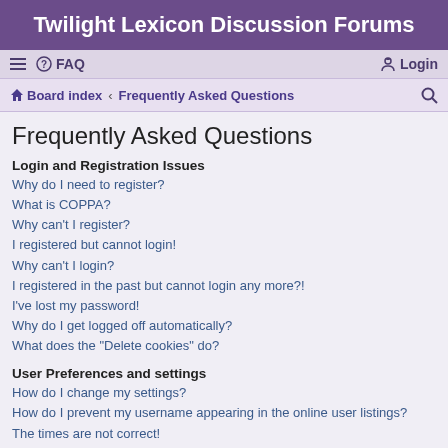Twilight Lexicon Discussion Forums
≡  FAQ   Login
Board index · Frequently Asked Questions
Frequently Asked Questions
Login and Registration Issues
Why do I need to register?
What is COPPA?
Why can't I register?
I registered but cannot login!
Why can't I login?
I registered in the past but cannot login any more?!
I've lost my password!
Why do I get logged off automatically?
What does the "Delete cookies" do?
User Preferences and settings
How do I change my settings?
How do I prevent my username appearing in the online user listings?
The times are not correct!
I changed the timezone and the time is still wrong!
My language is not in the list!
What are the images next to my username?